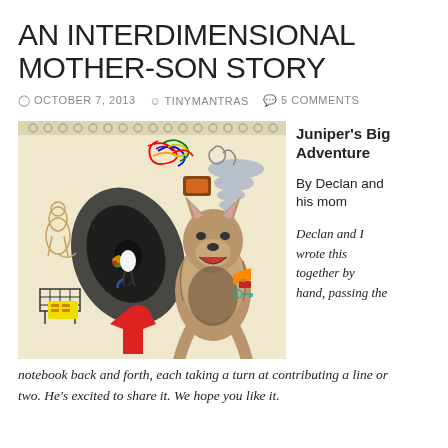AN INTERDIMENSIONAL MOTHER-SON STORY
OCTOBER 7, 2013   TINYMANTRAS   5 COMMENTS
[Figure (photo): A collaged sketchbook page featuring a photo of a dog/fox jumping, surrounded by children's drawings including a toucan, a swirling vortex, a kangaroo, colored scribbles, a tornado, and various other illustrated elements on a spiral-bound notebook.]
Juniper's Big Adventure
By Declan and his mom
Declan and I wrote this together by hand, passing the notebook back and forth, each taking a turn at contributing a line or two. He's excited to share it. We hope you like it.